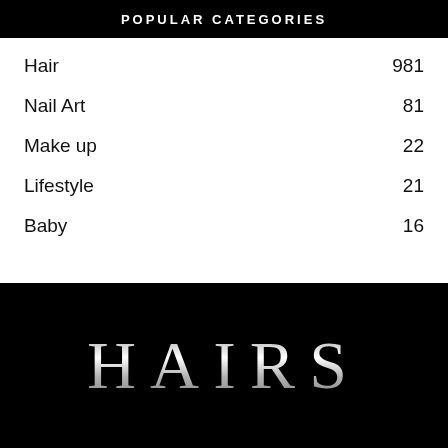POPULAR CATEGORIES
Hair 981
Nail Art 81
Make up 22
Lifestyle 21
Baby 16
HAIRS